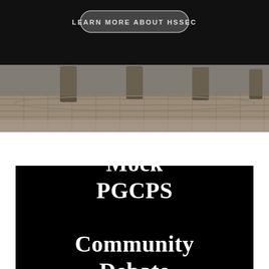[Figure (photo): Top section showing a street/campus scene with dark overlay and a 'LEARN MORE ABOUT HSSEC' button. The upper portion is a dark black overlay, and the lower portion shows a brick sidewalk with pillars/columns in the background.]
Mock PGCPS Community Debate